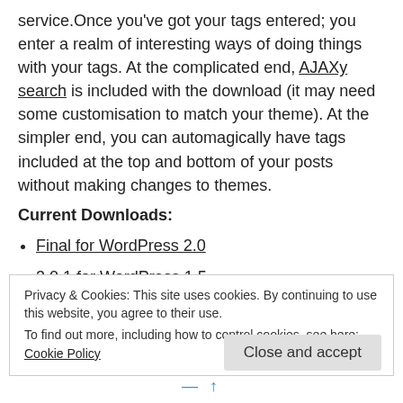service.Once you've got your tags entered; you enter a realm of interesting ways of doing things with your tags. At the complicated end, AJAXy search is included with the download (it may need some customisation to match your theme). At the simpler end, you can automagically have tags included at the top and bottom of your posts without making changes to themes.
Current Downloads:
Final for WordPress 2.0
3.0.1 for WordPress 1.5
3.0.1 in a single file for WordPress 2.0
Privacy & Cookies: This site uses cookies. By continuing to use this website, you agree to their use.
To find out more, including how to control cookies, see here: Cookie Policy
Close and accept